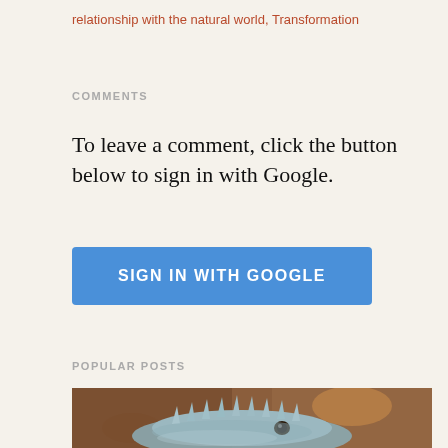relationship with the natural world, Transformation
COMMENTS
To leave a comment, click the button below to sign in with Google.
[Figure (screenshot): Blue button labeled SIGN IN WITH GOOGLE]
POPULAR POSTS
[Figure (photo): Close-up photograph of an iguana head with blue-grey scales and spines against a warm brown blurred background]